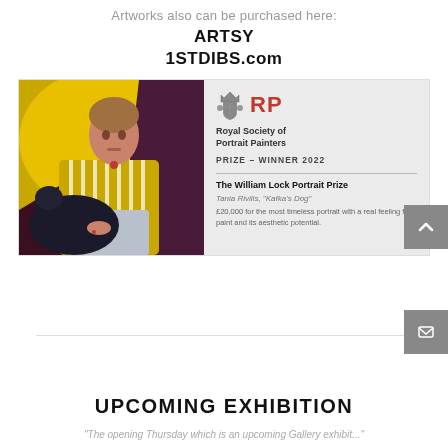Artworks also can be purchased here:
ARTSY
1STDIBS.com
[Figure (photo): Portrait painting of a young man in a yellow striped jacket sitting with a black dog. Vivid yellow background. Next to painting is a Royal Society of Portrait Painters award card showing PRIZE – WINNER 2022, The William Lock Portrait Prize, Tania Rivilis, 'Kafka's Dog', £20,000 for the most timeless portrait with a real feeling for paint and its aesthetic potential.]
UPCOMING EXHIBITION
"The opening Thursday which is an upcoming Gallery exhibit..."